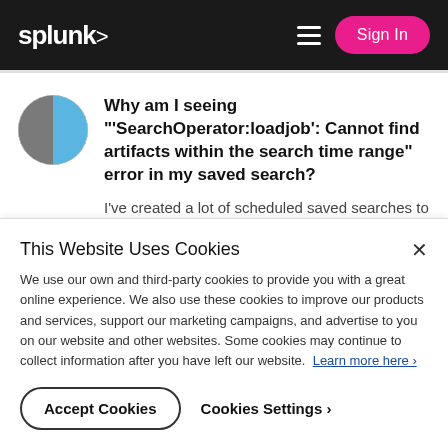splunk> Sign In
Why am I seeing "'SearchOperator:loadjob': Cannot find artifacts within the search time range" error in my saved search?
I've created a lot of scheduled saved searches to run daily at midnight, and ran into an issue with doing load
This Website Uses Cookies
We use our own and third-party cookies to provide you with a great online experience. We also use these cookies to improve our products and services, support our marketing campaigns, and advertise to you on our website and other websites. Some cookies may continue to collect information after you have left our website. Learn more here ›
Accept Cookies
Cookies Settings ›